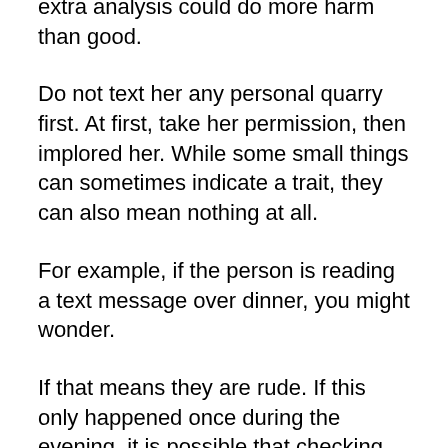extra analysis could do more harm than good.
Do not text her any personal quarry first. At first, take her permission, then implored her. While some small things can sometimes indicate a trait, they can also mean nothing at all.
For example, if the person is reading a text message over dinner, you might wonder.
If that means they are rude. If this only happened once during the evening, it is possible that checking the time or waiting for an important call. For now, try not to overthink this incident.
...